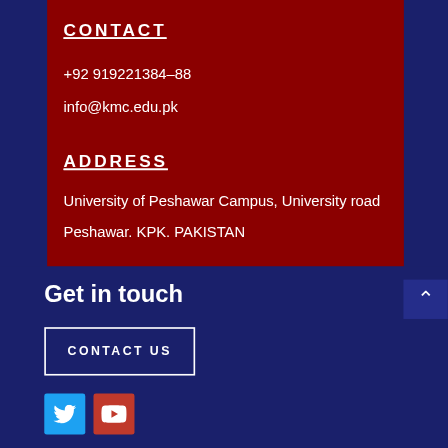CONTACT
+92 919221384–88
info@kmc.edu.pk
ADDRESS
University of Peshawar Campus, University road
Peshawar. KPK. PAKISTAN
Get in touch
CONTACT US
[Figure (other): Twitter and YouTube social media icon buttons]